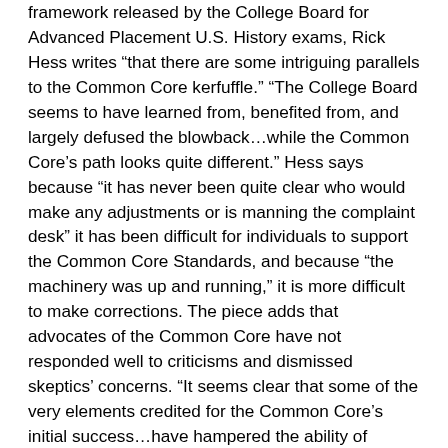framework released by the College Board for Advanced Placement U.S. History exams, Rick Hess writes “that there are some intriguing parallels to the Common Core kerfuffle.” “The College Board seems to have learned from, benefited from, and largely defused the blowback…while the Common Core’s path looks quite different.” Hess says because “it has never been quite clear who would make any adjustments or is manning the complaint desk” it has been difficult for individuals to support the Common Core Standards, and because “the machinery was up and running,” it is more difficult to make corrections. The piece adds that advocates of the Common Core have not responded well to criticisms and dismissed skeptics’ concerns. “It seems clear that some of the very elements credited for the Common Core’s initial success…have hampered the ability of advocates to respond constructively to critics.”
Where They Went Wrong: Hess makes a valid point that implementation of the Common Core State Standards has not been flawless. As with any meaningful reform, there have been bumps along the way. Contrary to Hess’ point,